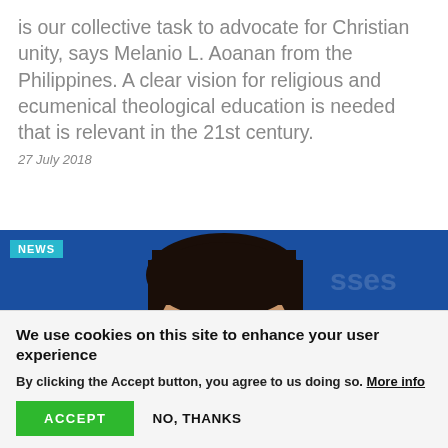is our collective task to advocate for Christian unity, says Melanio L. Aoanan from the Philippines. A clear vision for religious and ecumenical theological education is needed that is relevant in the 21st century.
27 July 2018
[Figure (photo): Close-up photograph of a woman with glasses in front of a blue World Council of Churches banner background. A cyan 'NEWS' badge is shown in the top-left corner of the image.]
We use cookies on this site to enhance your user experience
By clicking the Accept button, you agree to us doing so. More info
ACCEPT
NO, THANKS